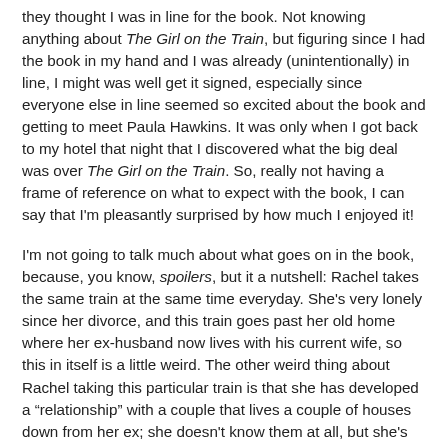they thought I was in line for the book. Not knowing anything about The Girl on the Train, but figuring since I had the book in my hand and I was already (unintentionally) in line, I might was well get it signed, especially since everyone else in line seemed so excited about the book and getting to meet Paula Hawkins. It was only when I got back to my hotel that night that I discovered what the big deal was over The Girl on the Train. So, really not having a frame of reference on what to expect with the book, I can say that I'm pleasantly surprised by how much I enjoyed it!
I'm not going to talk much about what goes on in the book, because, you know, spoilers, but it a nutshell: Rachel takes the same train at the same time everyday. She's very lonely since her divorce, and this train goes past her old home where her ex-husband now lives with his current wife, so this in itself is a little weird. The other weird thing about Rachel taking this particular train is that she has developed a "relationship" with a couple that lives a couple of houses down from her ex; she doesn't know them at all, but she's created this entire story about their lives in her head, a life to her that is perfect. So, every day Rachel gets on the same